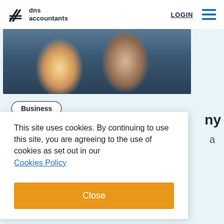dns accountants | LOGIN
[Figure (photo): Two businessmen in suits smiling and looking at documents together, with a presentation screen in the background]
Business
ny
a
This site uses cookies. By continuing to use this site, you are agreeing to the use of cookies as set out in our Cookies Policy
Close